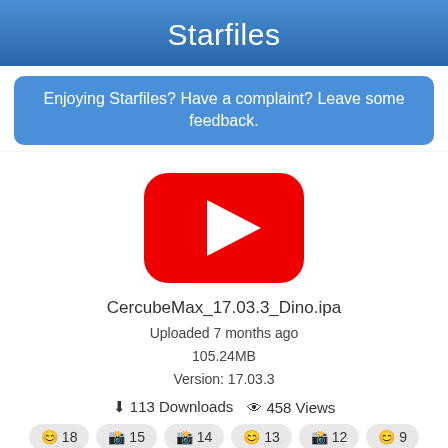Starfiles
Enjoying Starfiles? Have a complaint? Leave some feedback.
[Figure (illustration): YouTube-style red play button icon]
CercubeMax_17.03.3_Dino.ipa
Uploaded 7 months ago
105.24MB
Version: 17.03.3
113 Downloads  458 Views
😊 18  🔒 15  🔒 14  😊 13  🔒 12  😊 9
Download
Chat